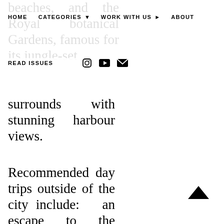HOME   CATEGORIES   WORK WITH US   ABOUT
READ ISSUES
surrounds with stunning harbour views.
Recommended day trips outside of the city include: an escape to the spectacularly wild and deliciously unspoiled Northern Beaches (Palm Beach is highly recommended); the Hunter Valley for a